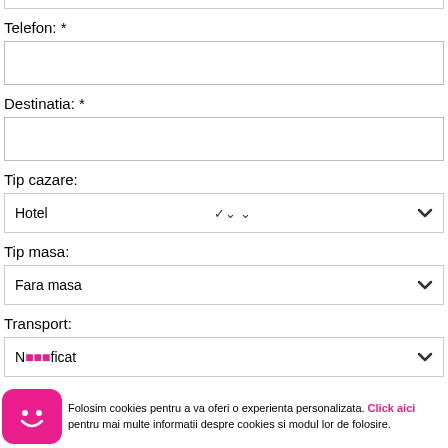Telefon: *
Destinatia: *
Tip cazare:
Hotel
Tip masa:
Fara masa
Transport:
N...ficat
Oras de plec...
Folosim cookies pentru a va oferi o experienta personalizata. Click aici pentru mai multe informatii despre cookies si modul lor de folosire.